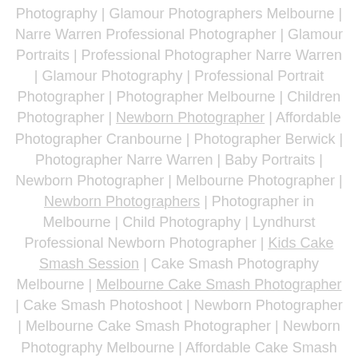Photography | Glamour Photographers Melbourne | Narre Warren Professional Photographer | Glamour Portraits | Professional Photographer Narre Warren | Glamour Photography | Professional Portrait Photographer | Photographer Melbourne | Children Photographer | Newborn Photographer | Affordable Photographer Cranbourne | Photographer Berwick | Photographer Narre Warren | Baby Portraits | Newborn Photographer | Melbourne Photographer | Newborn Photographers | Photographer in Melbourne | Child Photography | Lyndhurst Professional Newborn Photographer | Kids Cake Smash Session | Cake Smash Photography Melbourne | Melbourne Cake Smash Photographer | Cake Smash Photoshoot | Newborn Photographer | Melbourne Cake Smash Photographer | Newborn Photography Melbourne | Affordable Cake Smash Session | Frankston Professional Photographer | Professional Newborn and Kids Photographer | Newborn Photography